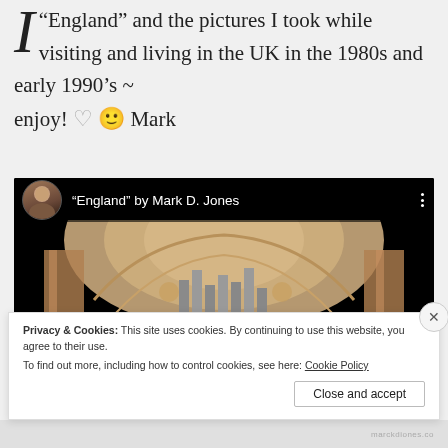I “England” and the pictures I took while visiting and living in the UK in the 1980s and early 1990’s ~ enjoy! ♡ 🙂 Mark
[Figure (screenshot): Embedded video thumbnail showing a church organ interior with ornate baroque architecture. Video title bar reads '"England" by Mark D. Jones' with a circular avatar photo of a man.]
Privacy & Cookies: This site uses cookies. By continuing to use this website, you agree to their use.
To find out more, including how to control cookies, see here: Cookie Policy